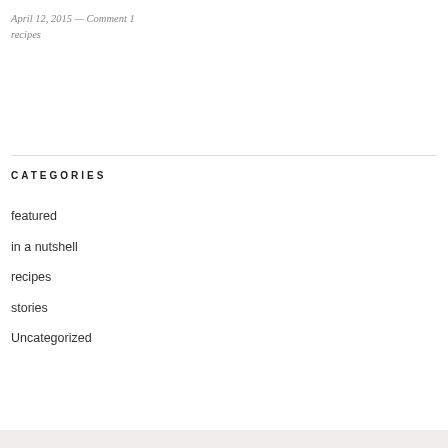April 12, 2015 — Comment 1
recipes
CATEGORIES
featured
in a nutshell
recipes
stories
Uncategorized